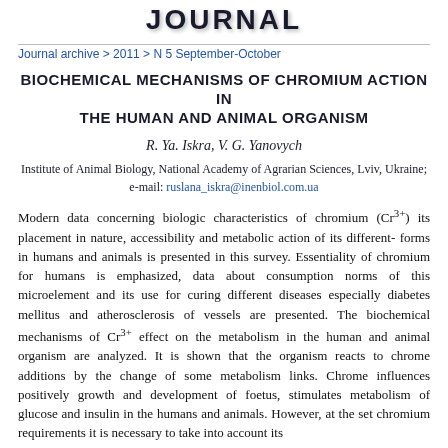JOURNAL
Journal archive > 2011 > N 5 September-October
BIOCHEMICAL MECHANISMS OF CHROMIUM ACTION IN THE HUMAN AND ANIMAL ORGANISM
R. Ya. Iskra, V. G. Yanovych
Institute of Animal Biology, National Academy of Agrarian Sciences, Lviv, Ukraine; e-mail: ruslana_iskra@inenbiol.com.ua
Modern data concerning biologic characteristics of chromium (Cr3+) its placement in nature, accessibility and metabolic action of its different-forms in humans and animals is presented in this survey. Essentiality of chromium for humans is emphasized, data about consumption norms of this microelement and its use for curing different diseases especially diabetes mellitus and atherosclerosis of vessels are presented. The biochemical mechanisms of Cr3+ effect on the metabolism in the human and animal organism are analyzed. It is shown that the organism reacts to chrome additions by the change of some metabolism links. Chrome influences positively growth and development of foetus, stimulates metabolism of glucose and insulin in the humans and animals. However, at the set chromium requirements it is necessary to take into account its